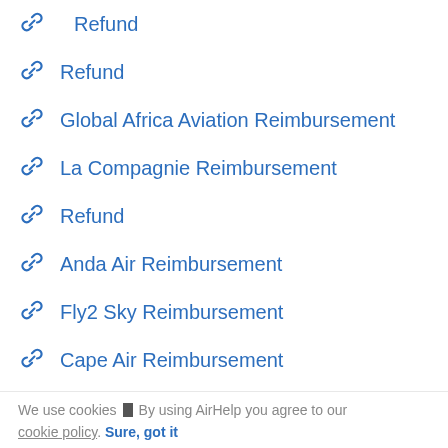Refund
Refund
Global Africa Aviation Reimbursement
La Compagnie Reimbursement
Refund
Anda Air Reimbursement
Fly2 Sky Reimbursement
Cape Air Reimbursement
Aerovias Reimbursement
Air Serbia reimbursement
We use cookies ▮ By using AirHelp you agree to our cookie policy. Sure, got it